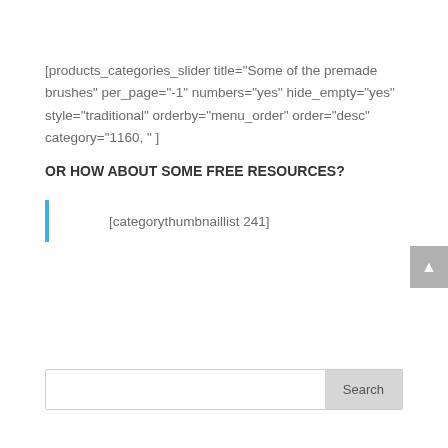[products_categories_slider title="Some of the premade brushes" per_page="-1" numbers="yes" hide_empty="yes" style="traditional" orderby="menu_order" order="desc" category="1160, " ]
OR HOW ABOUT SOME FREE RESOURCES?
[categorythumbnaillist 241]
Search